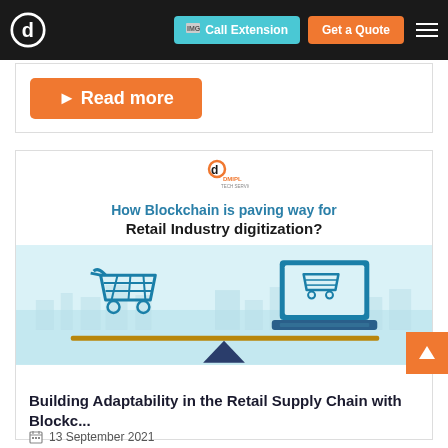Call Extension | Get a Quote
Read more
[Figure (infographic): Infographic showing blockchain paving way for retail industry digitization. A shopping cart on the left and a laptop with a cart icon on the right, balanced on a seesaw/scale with a triangle fulcrum. Background has city skyline silhouette. Title: How Blockchain is paving way for Retail Industry digitization?]
Building Adaptability in the Retail Supply Chain with Blockc...
13 September 2021